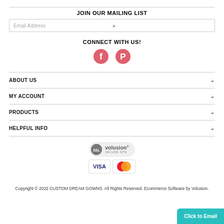JOIN OUR MAILING LIST
Email Address
CONNECT WITH US!
[Figure (illustration): Facebook and Pinterest social media icons in pink/red color]
ABOUT US
MY ACCOUNT
PRODUCTS
HELPFUL INFO
[Figure (logo): SSL Volusion Secure Site badge with circular SSL logo and Visa/Mastercard payment badges]
Copyright © 2022 CUSTOM DREAM GOWNS. All Rights Reserved. Ecommerce Software by Volusion.
Click to Email